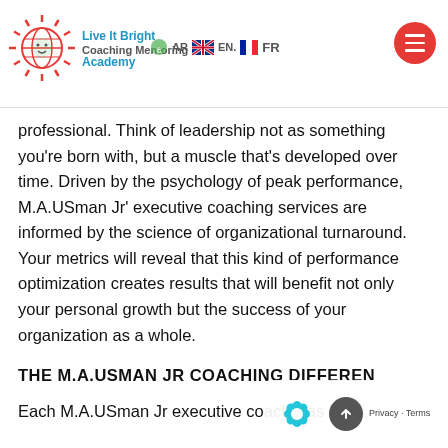Live It Bright Coaching Mentoring Academy — AR EN FR navigation header
professional. Think of leadership not as something you're born with, but a muscle that's developed over time. Driven by the psychology of peak performance, M.A.USman Jr' executive coaching services are informed by the science of organizational turnaround. Your metrics will reveal that this kind of performance optimization creates results that will benefit not only your personal growth but the success of your organization as a whole.
THE M.A.USMAN JR COACHING DIFFERENCE
Each M.A.USman Jr executive coach was hand